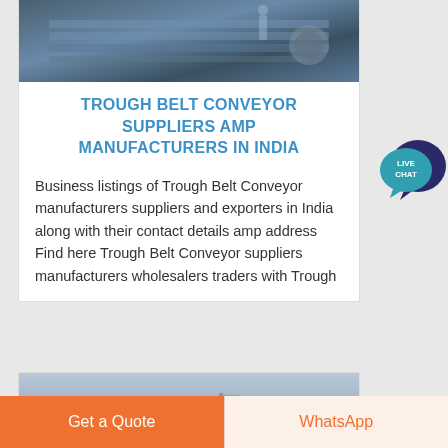[Figure (photo): Industrial conveyor machinery photo at the top of the first card]
TROUGH BELT CONVEYOR SUPPLIERS AMP MANUFACTURERS IN INDIA
Business listings of Trough Belt Conveyor manufacturers suppliers and exporters in India along with their contact details amp address Find here Trough Belt Conveyor suppliers manufacturers wholesalers traders with Trough
[Figure (illustration): Live Chat speech bubble icon in teal/dark blue]
[Figure (photo): Second card partial image showing outdoor/industrial scene]
Get a Quote
WhatsApp